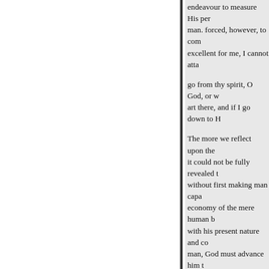endeavour to measure His per man. forced, however, to com excellent for me, I cannot atta
go from thy spirit, O God, or w art there, and if I go down to H
The more we reflect upon the it could not be fully revealed t without first making man capa economy of the mere human b with his present nature and co man, God must advance him t comprehend infinite. He, there
»
self in the terms of our text, as acting; known only to himself be fully apprehended by any b adequate conception of him ;— things and to which all things AM"-ever the same," with wh without end." Past and future v there are no divisions of dura time. Everything is eternally p